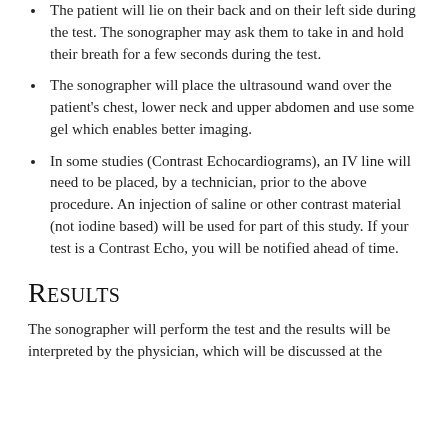The patient will lie on their back and on their left side during the test. The sonographer may ask them to take in and hold their breath for a few seconds during the test.
The sonographer will place the ultrasound wand over the patient's chest, lower neck and upper abdomen and use some gel which enables better imaging.
In some studies (Contrast Echocardiograms), an IV line will need to be placed, by a technician, prior to the above procedure. An injection of saline or other contrast material (not iodine based) will be used for part of this study. If your test is a Contrast Echo, you will be notified ahead of time.
Results
The sonographer will perform the test and the results will be interpreted by the physician, which will be discussed at the